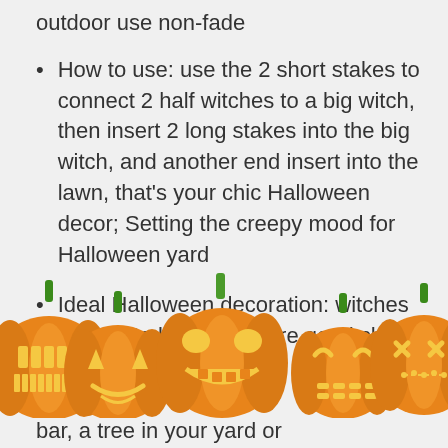outdoor use non-fade
How to use: use the 2 short stakes to connect 2 half witches to a big witch, then insert 2 long stakes into the big witch, and another end insert into the lawn, that's your chic Halloween decor; Setting the creepy mood for Halloween yard
Ideal Halloween decoration: witches silhouette lawn signs are good choice for scary bar, a tree in your yard or
[Figure (illustration): Row of five carved Halloween jack-o-lantern pumpkins with glowing faces, orange with green stems, partially overlapping, at the bottom of the page]